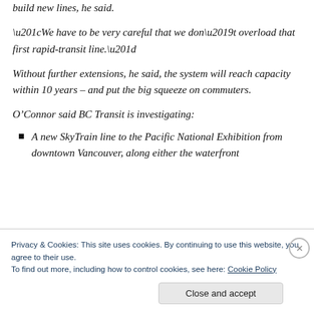build new lines, he said.
“We have to be very careful that we don’t overload that first rapid-transit line.”
Without further extensions, he said, the system will reach capacity within 10 years – and put the big squeeze on commuters.
O’Connor said BC Transit is investigating:
A new SkyTrain line to the Pacific National Exhibition from downtown Vancouver, along either the waterfront
Privacy & Cookies: This site uses cookies. By continuing to use this website, you agree to their use.
To find out more, including how to control cookies, see here: Cookie Policy
Close and accept